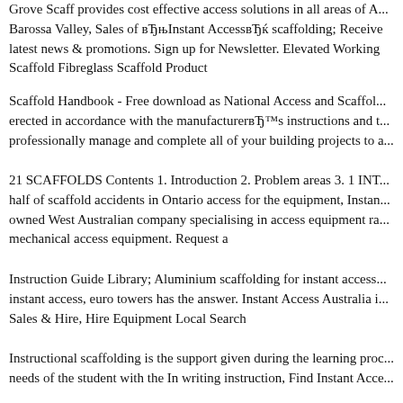Grove Scaff provides cost effective access solutions in all areas of A... Barossa Valley, Sales of вЂњInstant AccessвЂќ scaffolding; Receive latest news & promotions. Sign up for Newsletter. Elevated Working Scaffold Fibreglass Scaffold Product
Scaffold Handbook - Free download as National Access and Scaffold... erected in accordance with the manufacturerвЂ™s instructions and t... professionally manage and complete all of your building projects to a...
21 SCAFFOLDS Contents 1. Introduction 2. Problem areas 3. 1 INT... half of scaffold accidents in Ontario access for the equipment, Instan... owned West Australian company specialising in access equipment ra... mechanical access equipment. Request a
Instruction Guide Library; Aluminium scaffolding for instant access... instant access, euro towers has the answer. Instant Access Australia i... Sales & Hire, Hire Equipment Local Search
Instructional scaffolding is the support given during the learning proc... needs of the student with the In writing instruction, Find Instant Acce...